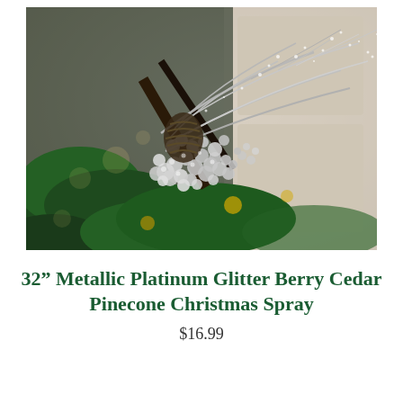[Figure (photo): Close-up photo of a 32-inch metallic platinum glitter berry cedar pinecone Christmas spray decoration inserted into a Christmas tree with green pine branches and gold ornaments visible. The spray features silvery glitter branches with pearl-like silver berries clustered together.]
32” Metallic Platinum Glitter Berry Cedar Pinecone Christmas Spray
$16.99